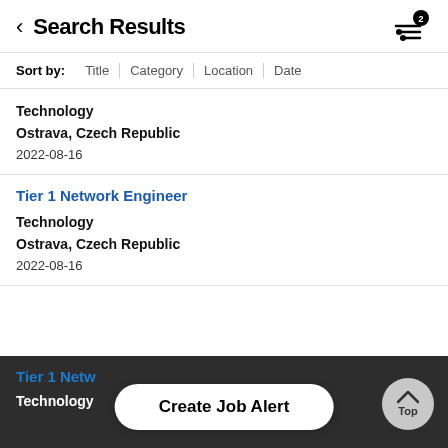Search Results
Sort by: Title | Category | Location | Date
Technology
Ostrava, Czech Republic
2022-08-16
Tier 1 Network Engineer
Technology
Ostrava, Czech Republic
2022-08-16
Tier 1 Netw...
Technology
Create Job Alert